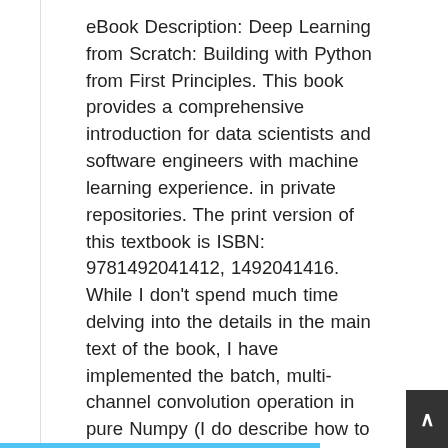eBook Description: Deep Learning from Scratch: Building with Python from First Principles. This book provides a comprehensive introduction for data scientists and software engineers with machine learning experience. in private repositories. The print version of this textbook is ISBN: 9781492041412, 1492041416. While I don't spend much time delving into the details in the main text of the book, I have implemented the batch, multi-channel convolution operation in pure Numpy (I do describe how to do this and share the code in the book's Appendix). With the resurgence of neural networks in the 2010s, deep learning has become essential for machine learning practitioners and even many software engineers. github kuriousai scratchdl deep learning framework from. Deep Learning from Scratch: Building with Python from First Principles. 109 GitHub kuriousai ScratchDL Deep Learning framework from. Deep Neural